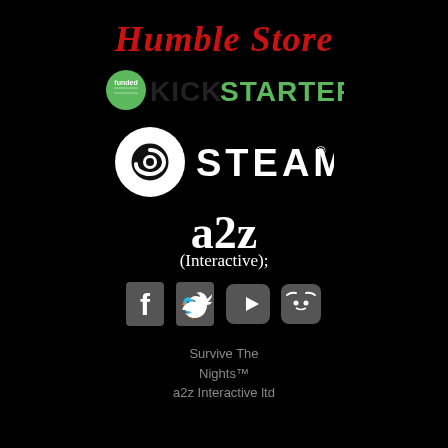[Figure (logo): Humble Store logo in red italic serif font]
[Figure (logo): Kickstarter Funded logo: green badge with 'funded' text and KICKSTARTER in green/black]
[Figure (logo): Steam logo: white circle with steam icon and STEAM text with registered trademark]
[Figure (logo): a2z (Interactive); logo in white serif font]
[Figure (logo): Social media icons: Facebook, Twitter, YouTube, Discord in grey]
Survive The Nights™
a2z Interactive ltd